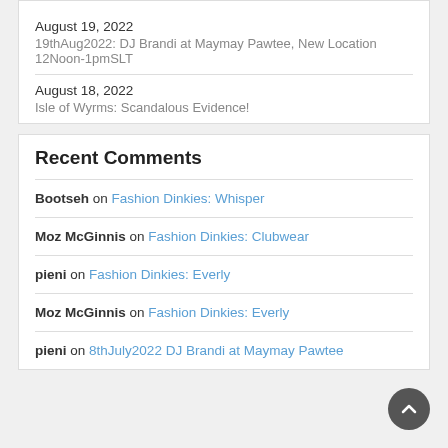August 19, 2022
19thAug2022: DJ Brandi at Maymay Pawtee, New Location 12Noon-1pmSLT
August 18, 2022
Isle of Wyrms: Scandalous Evidence!
Recent Comments
Bootseh on Fashion Dinkies: Whisper
Moz McGinnis on Fashion Dinkies: Clubwear
pieni on Fashion Dinkies: Everly
Moz McGinnis on Fashion Dinkies: Everly
pieni on 8thJuly2022 DJ Brandi at Maymay Pawtee